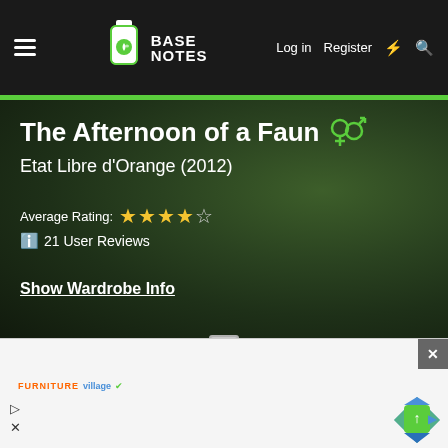BaseNotes — Log in  Register
The Afternoon of a Faun — Etat Libre d'Orange (2012)
Average Rating: ★★★★☆  21 User Reviews
Show Wardrobe Info
[Figure (screenshot): Advertisement overlay with Furniture Village brand logo and navigation arrows, with close button]
[Figure (photo): Partial view of a perfume bottle at the bottom of the hero section]